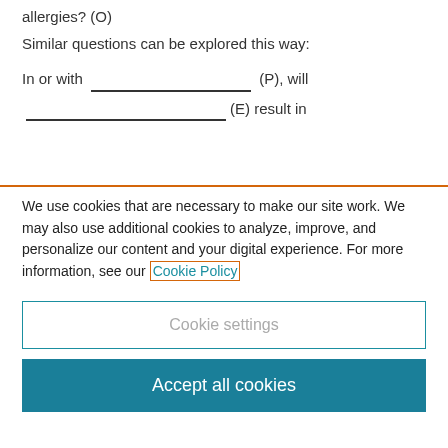allergies? (O)
Similar questions can be explored this way:
In or with ______________ (P), will ______________ (E) result in
We use cookies that are necessary to make our site work. We may also use additional cookies to analyze, improve, and personalize our content and your digital experience. For more information, see our Cookie Policy
Cookie settings
Accept all cookies